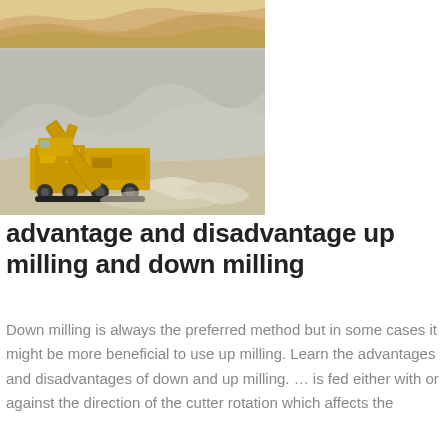[Figure (photo): Photo of yellow mining/crushing equipment (conveyor and crusher) in an open-pit mining site with sandy terrain and mountains in the background. Two photos stacked — top shows sandy terrain, bottom shows the yellow crusher machine.]
advantage and disadvantage up milling and down milling
Down milling is always the preferred method but in some cases it might be more beneficial to use up milling. Learn the advantages and disadvantages of down and up milling. … is fed either with or against the direction of the cutter rotation which affects the